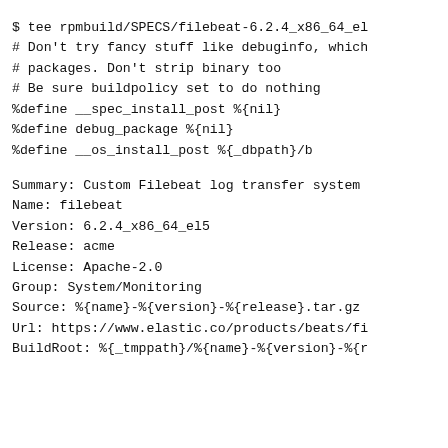$ tee rpmbuild/SPECS/filebeat-6.2.4_x86_64_el
# Don't try fancy stuff like debuginfo, which
# packages. Don't strip binary too
# Be sure buildpolicy set to do nothing
%define        __spec_install_post %{nil}
%define            debug_package %{nil}
%define        __os_install_post %{_dbpath}/b

Summary: Custom Filebeat log transfer system
Name: filebeat
Version: 6.2.4_x86_64_el5
Release: acme
License: Apache-2.0
Group: System/Monitoring
Source: %{name}-%{version}-%{release}.tar.gz
Url: https://www.elastic.co/products/beats/fi
BuildRoot: %{_tmppath}/%{name}-%{version}-%{r